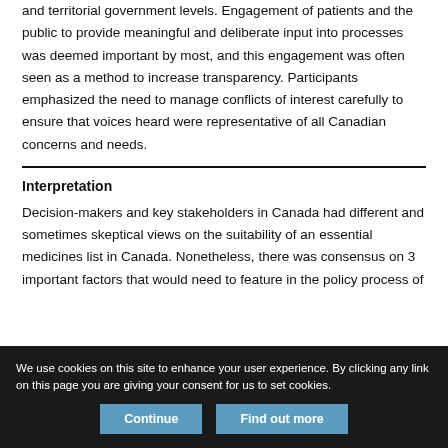and territorial government levels. Engagement of patients and the public to provide meaningful and deliberate input into processes was deemed important by most, and this engagement was often seen as a method to increase transparency. Participants emphasized the need to manage conflicts of interest carefully to ensure that voices heard were representative of all Canadian concerns and needs.
Interpretation
Decision-makers and key stakeholders in Canada had different and sometimes skeptical views on the suitability of an essential medicines list in Canada. Nonetheless, there was consensus on 3 important factors that would need to feature in the policy process of
We use cookies on this site to enhance your user experience. By clicking any link on this page you are giving your consent for us to set cookies.